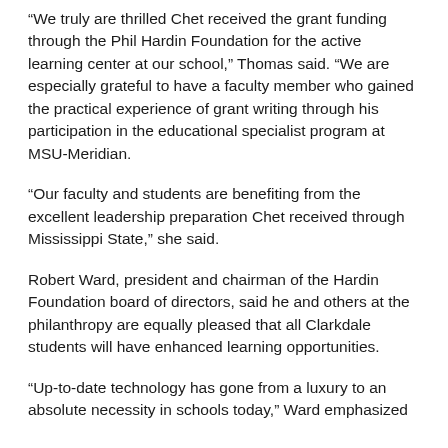“We truly are thrilled Chet received the grant funding through the Phil Hardin Foundation for the active learning center at our school,” Thomas said. “We are especially grateful to have a faculty member who gained the practical experience of grant writing through his participation in the educational specialist program at MSU-Meridian.
“Our faculty and students are benefiting from the excellent leadership preparation Chet received through Mississippi State,” she said.
Robert Ward, president and chairman of the Hardin Foundation board of directors, said he and others at the philanthropy are equally pleased that all Clarkdale students will have enhanced learning opportunities.
“Up-to-date technology has gone from a luxury to an absolute necessity in schools today,” Ward emphasized